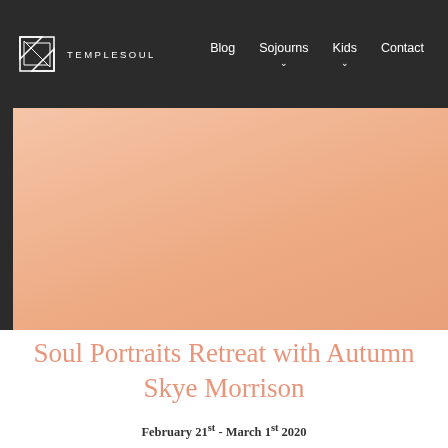TEMPLESOUL — Blog | Sojourns | Kids | Contact
[Figure (illustration): Peach/salmon colored hero banner image area]
Soul Portraits Retreat with Autumn Skye Morrison
February 21st - March 1st 2020